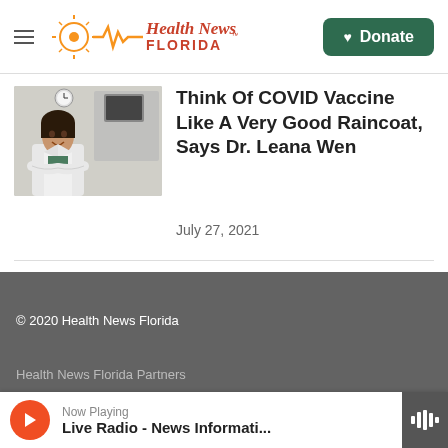Health News Florida — Donate
[Figure (photo): Photo of a female doctor in white coat smiling in a hospital room with medical equipment]
Think Of COVID Vaccine Like A Very Good Raincoat, Says Dr. Leana Wen
July 27, 2021
© 2020 Health News Florida
Health News Florida Partners
Now Playing
Live Radio - News Informati...